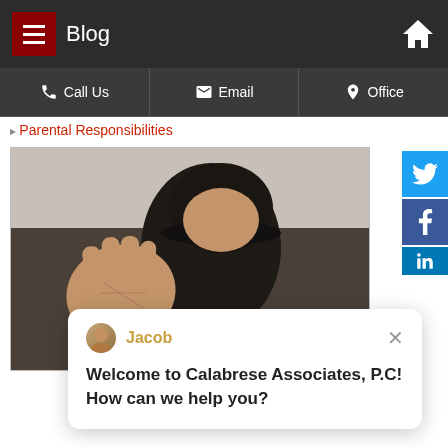Blog
Parental Responsibilities
[Figure (photo): A person in a black beanie hat holding their hand up toward the camera in a stop or blocking gesture, photographed against a light background.]
Jacob — Welcome to Calabrese Associates, P.C! How can we help you?
Teenagers are more capable of complex thinking than younger children because of their growing maturity. Thus, it makes sense that a teenager's